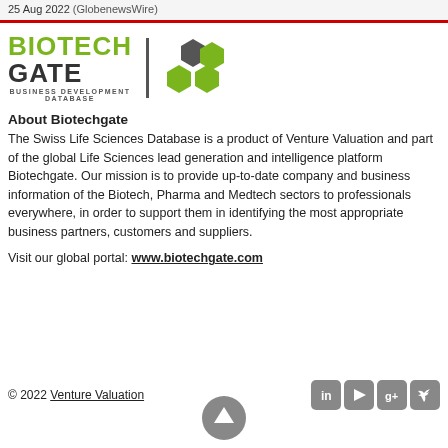25 Aug 2022 (GlobenewsWire)
[Figure (logo): Biotechgate Business Development Database logo with green and dark hexagon shapes]
About Biotechgate
The Swiss Life Sciences Database is a product of Venture Valuation and part of the global Life Sciences lead generation and intelligence platform Biotechgate. Our mission is to provide up-to-date company and business information of the Biotech, Pharma and Medtech sectors to professionals everywhere, in order to support them in identifying the most appropriate business partners, customers and suppliers.
Visit our global portal: www.biotechgate.com
© 2022 Venture Valuation